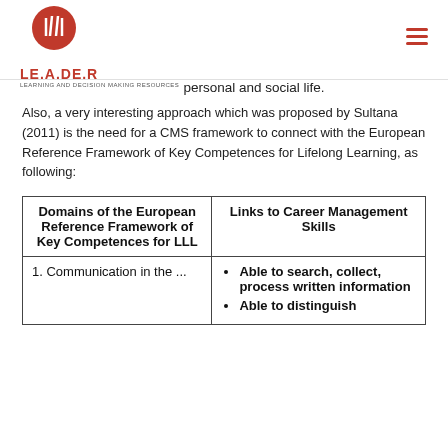LE.A.DE.R — Learning and Decision Making Resources
personal and social life.
Also, a very interesting approach which was proposed by Sultana (2011) is the need for a CMS framework to connect with the European Reference Framework of Key Competences for Lifelong Learning, as following:
| Domains of the European Reference Framework of Key Competences for LLL | Links to Career Management Skills |
| --- | --- |
| 1. Communication in the ... | • Able to search, collect, process written information
• Able to distinguish ... |